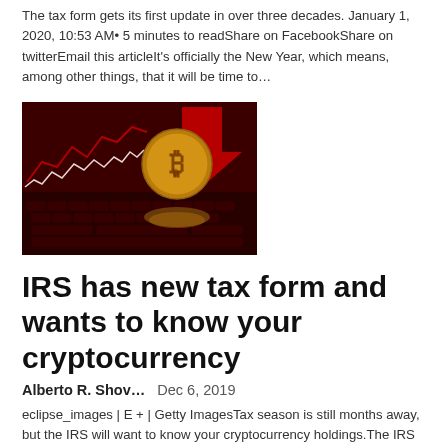The tax form gets its first update in over three decades. January 1, 2020, 10:53 AM• 5 minutes to readShare on FacebookShare on twitterEmail this articleIt's officially the New Year, which means, among other things, that it will be time to...
[Figure (photo): A gold Bitcoin coin in front of a dark red background with stock chart graphics and a keyboard]
IRS has new tax form and wants to know your cryptocurrency
Alberto R. Shov...   Dec 6, 2019
eclipse_images | E + | Getty ImagesTax season is still months away, but the IRS will want to know your cryptocurrency holdings.The IRS